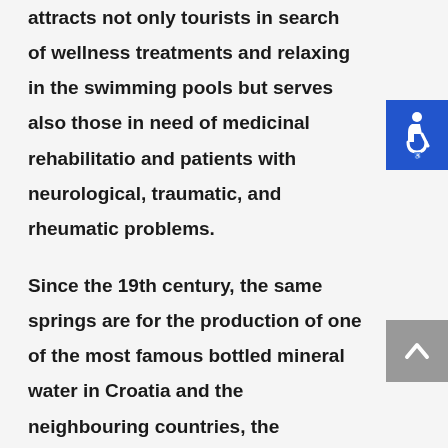attracts not only tourists in search of wellness treatments and relaxing in the swimming pools but serves also those in need of medicinal rehabilitation and patients with neurological, traumatic, and rheumatic problems.
Since the 19th century, the same springs are for the production of one of the most famous bottled mineral water in Croatia and the neighbouring countries, the legendary Studenac sparkling water.
Lipik is also famous for the long tradition of horse-breeding, especially the noble Lipizzaner horses so one of the places you should not miss there are the stables of the famous breed. More info...